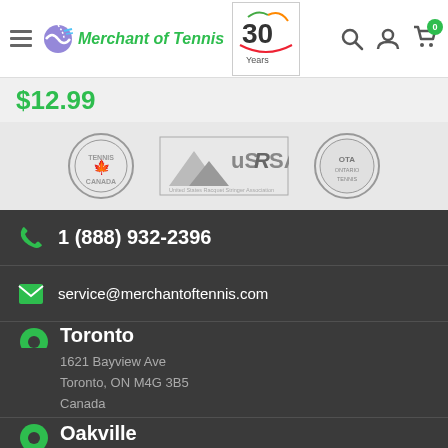Merchant of Tennis — navigation header with logo, 30 Years badge, search, account, and cart (0) icons
$12.99
[Figure (logo): Three association logos: Tennis Canada, USRSA (United States Racquet Stringer Association), OTA (Ontario Tennis Association)]
1 (888) 932-2396
service@merchantoftennis.com
Toronto
1621 Bayview Ave
Toronto, ON M4G 3B5
Canada
416-932-2396
Oakville